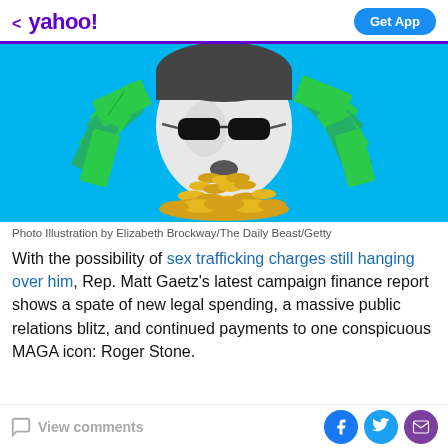< yahoo!  Get App
[Figure (illustration): Photo illustration on cyan/blue background showing a black-and-white figure wearing sunglasses with green dollar bills fanning out from either side and gold coins spilling from the mouth.]
Photo Illustration by Elizabeth Brockway/The Daily Beast/Getty
With the possibility of sex trafficking charges still hanging over him, Rep. Matt Gaetz's latest campaign finance report shows a spate of new legal spending, a massive public relations blitz, and continued payments to one conspicuous MAGA icon: Roger Stone.
View comments  [Facebook] [Twitter] [Email]